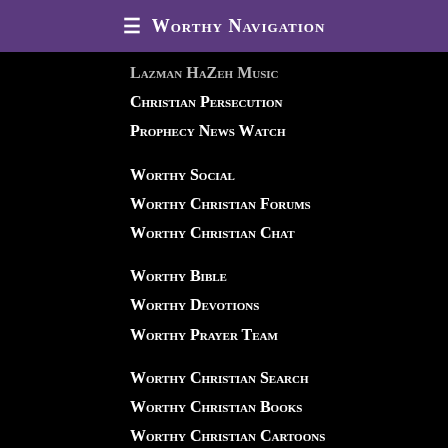≡ Worthy Navigation
Lazman HaZeh Music
Christian Persecution
Prophecy News Watch
Worthy Social
Worthy Christian Forums
Worthy Christian Chat
Worthy Bible
Worthy Devotions
Worthy Prayer Team
Worthy Christian Search
Worthy Christian Books
Worthy Christian Cartoons
Worthy Israel Tours